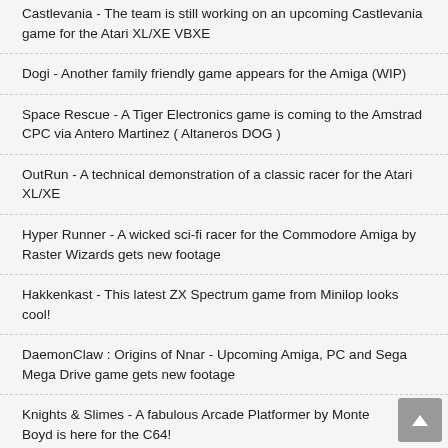Castlevania - The team is still working on an upcoming Castlevania game for the Atari XL/XE VBXE
Dogi - Another family friendly game appears for the Amiga (WIP)
Space Rescue - A Tiger Electronics game is coming to the Amstrad CPC via Antero Martinez ( Altaneros DOG )
OutRun - A technical demonstration of a classic racer for the Atari XL/XE
Hyper Runner - A wicked sci-fi racer for the Commodore Amiga by Raster Wizards gets new footage
Hakkenkast - This latest ZX Spectrum game from Minilop looks cool!
DaemonClaw : Origins of Nnar - Upcoming Amiga, PC and Sega Mega Drive game gets new footage
Knights & Slimes - A fabulous Arcade Platformer by Monte Boyd is here for the C64!